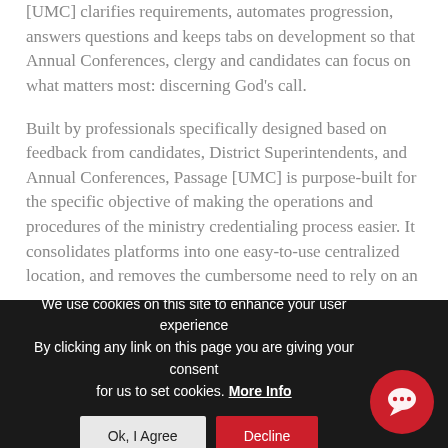[UMC] clarifies requirements, automates progression, answers questions and keeps tabs on development so that Annual Conferences, clergy and candidates can focus on what matters most: discerning God's call.
Built by professionals specifically designed based on feedback from candidates, District Superintendents, and Annual Conferences, Passage [UMC] is purpose-built for the specific objective of making the operations and procedures of the ministry credentialing process easier. It consolidates platforms into one easy-to-use centralized location, and removes the cumbersome need to rely on an
We use cookies on this site to enhance your user experience By clicking any link on this page you are giving your consent for us to set cookies. More Info